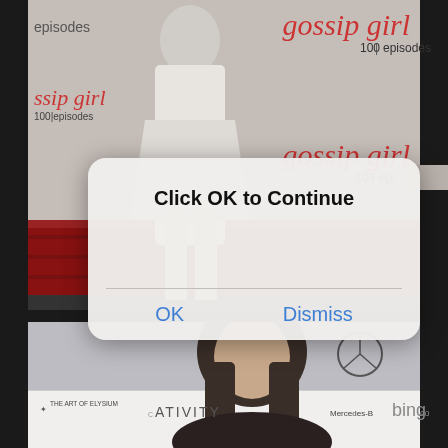[Figure (photo): Top photo: Red carpet event for Gossip Girl 100 episodes, showing a person in a white dress on the red carpet. Gossip Girl 100 episodes branding repeats on the backdrop.]
Click OK to Continue
OK
Dismiss
[Figure (photo): Bottom photo: Person at an event with branding for The Art of Elysium, Mercedes-Benz, Creativity, and Bing visible in the background.]